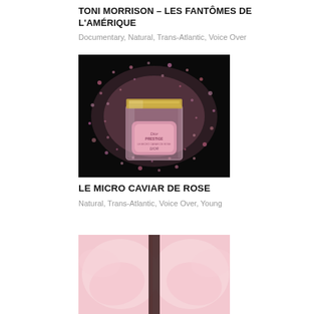TONI MORRISON – LES FANTÔMES DE L'AMÉRIQUE
Documentary, Natural, Trans-Atlantic, Voice Over
[Figure (photo): Dior Prestige Le Micro Caviar de Rose product shot against a black background with pink sparkle/bubble particles surrounding a glass jar with gold lid]
LE MICRO CAVIAR DE ROSE
Natural, Trans-Atlantic, Voice Over, Young
[Figure (photo): Partial view of another Dior product image with pink tones, cropped at bottom of page]